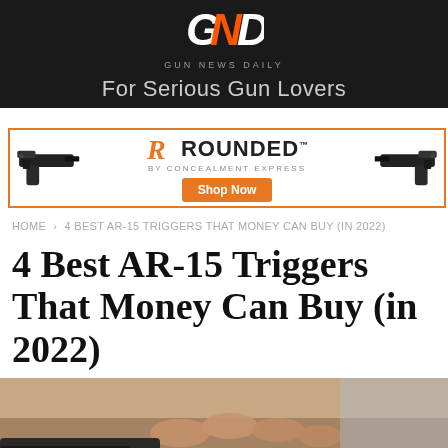GND GUN NEWS DAILY — For Serious Gun Lovers
[Figure (illustration): Rounded by Concealment Express advertisement banner with holster guns on left and right, orange R logo, ROUNDED text, and Shop Now button]
HOME › 4 BEST AR-15 TRIGGERS THAT MONEY CAN BUY (IN 2022)
4 Best AR-15 Triggers That Money Can Buy (in 2022)
[Figure (photo): Close-up photo of hands working on an AR-15 trigger mechanism]